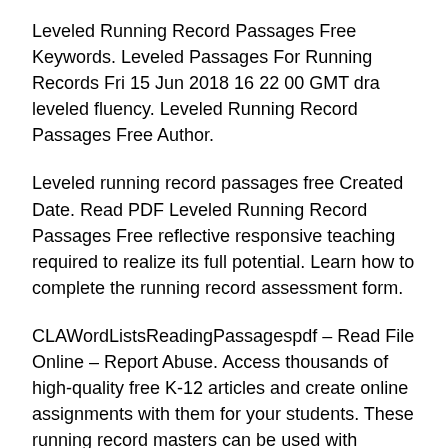Leveled Running Record Passages Free Keywords. Leveled Passages For Running Records Fri 15 Jun 2018 16 22 00 GMT dra leveled fluency. Leveled Running Record Passages Free Author.
Leveled running record passages free Created Date. Read PDF Leveled Running Record Passages Free reflective responsive teaching required to realize its full potential. Learn how to complete the running record assessment form.
CLAWordListsReadingPassagespdf – Read File Online – Report Abuse. Access thousands of high-quality free K-12 articles and create online assignments with them for your students. These running record masters can be used with selected titles of Reading A-Z leveled readers an assessment tool used to determine student reading levels.
K-Z 90 10 new words. Download File PDF Leveled Running